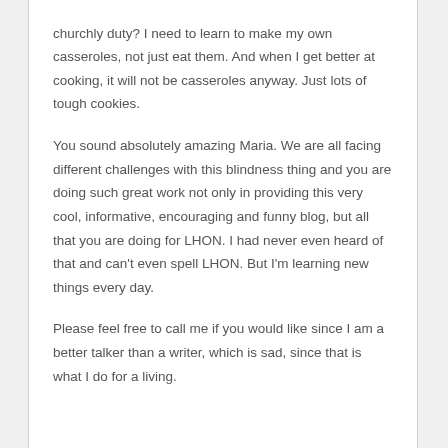churchly duty? I need to learn to make my own casseroles, not just eat them. And when I get better at cooking, it will not be casseroles anyway. Just lots of tough cookies.
You sound absolutely amazing Maria. We are all facing different challenges with this blindness thing and you are doing such great work not only in providing this very cool, informative, encouraging and funny blog, but all that you are doing for LHON. I had never even heard of that and can't even spell LHON. But I'm learning new things every day.
Please feel free to call me if you would like since I am a better talker than a writer, which is sad, since that is what I do for a living.